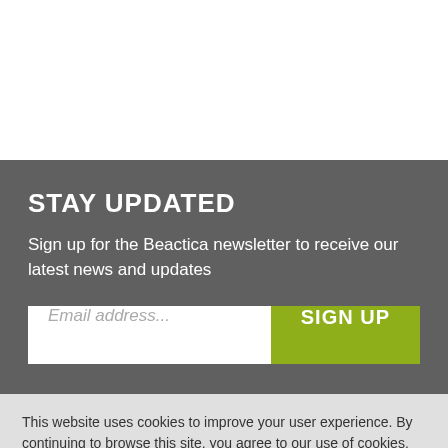STAY UPDATED
Sign up for the Beactica newsletter to receive our latest news and updates
Email address...
SIGN UP
This website uses cookies to improve your user experience. By continuing to browse this site, you agree to our use of cookies. More information
OK